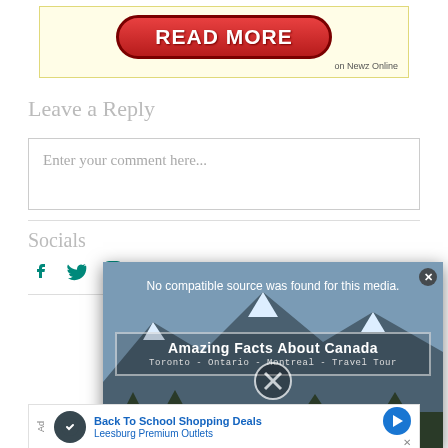[Figure (other): Red 'READ MORE' button on yellow banner with 'on Newz Online' text]
Leave a Reply
[Figure (other): Comment text input box with placeholder 'Enter your comment here...']
Socials
[Figure (other): Social media icons: Facebook, Twitter, Instagram]
[Figure (other): Video overlay popup with mountain background showing 'No compatible source was found for this media.' and title 'Amazing Facts About Canada - Toronto - Ontario - Montreal - Travel Tour']
[Figure (other): Bottom advertisement: Back To School Shopping Deals - Leesburg Premium Outlets]